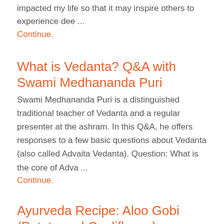impacted my life so that it may inspire others to experience dee ...
Continue.
What is Vedanta? Q&A with Swami Medhananda Puri
Swami Medhananda Puri is a distinguished traditional teacher of Vedanta and a regular presenter at the ashram. In this Q&A, he offers responses to a few basic questions about Vedanta (also called Advaita Vedanta). Question: What is the core of Adva ...
Continue.
Ayurveda Recipe: Aloo Gobi (Potato and Cauliflower)
from Bharata Surya A go-to Ayurveda recipe, this classic dish is one of the most popular ...